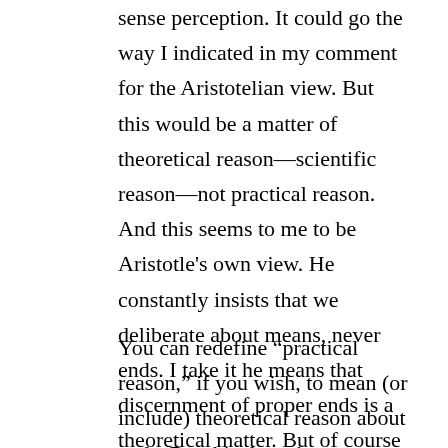sense perception. It could go the way I indicated in my comment for the Aristotelian view. But this would be a matter of theoretical reason—scientific reason—not practical reason. And this seems to me to be Aristotle's own view. He constantly insists that we deliberate about means, never ends. I take it he means that discernment of proper ends is a theoretical matter. But of course I'm hardly an Aristotle scholar.
You can redefine “practical reason,” if you wish, to mean (or include) theoretical reason about ends. But this doesn’t accomplish anything material. And it still wouldn’t work, because